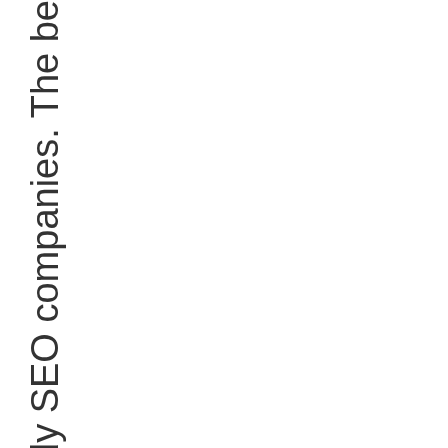k than shady SEO companies. The be